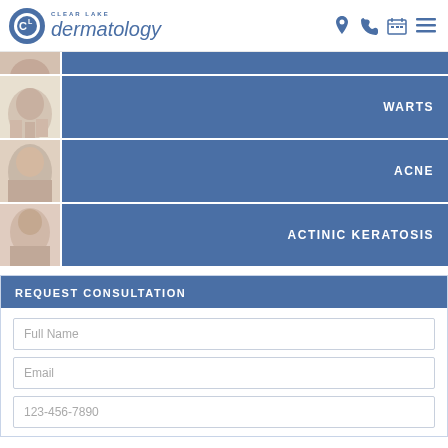[Figure (logo): Clear Lake Dermatology logo with circular C/L icon and stylized italic dermatology text]
[Figure (infographic): Navigation icons: location pin, phone, calendar, hamburger menu]
[Figure (photo): Partial cropped photo at top]
WARTS
ACNE
ACTINIC KERATOSIS
REQUEST CONSULTATION
Full Name
Email
123-456-7890